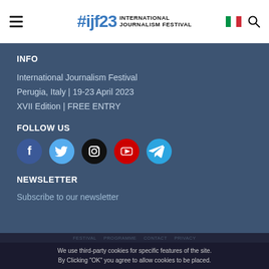#ijf23 INTERNATIONAL JOURNALISM FESTIVAL
INFO
International Journalism Festival
Perugia, Italy | 19-23 April 2023
XVII Edition | FREE ENTRY
FOLLOW US
[Figure (infographic): Social media icons: Facebook (dark blue circle), Twitter (light blue circle), Instagram (black circle), YouTube (red circle), Telegram (cyan circle)]
NEWSLETTER
Subscribe to our newsletter
We use third-party cookies for specific features of the site. By Clicking "OK" you agree to allow cookies to be placed.